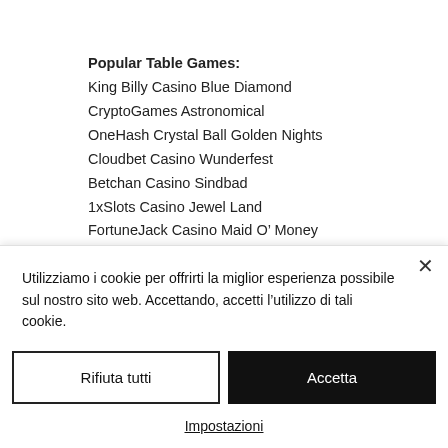Popular Table Games:
King Billy Casino Blue Diamond
CryptoGames Astronomical
OneHash Crystal Ball Golden Nights
Cloudbet Casino Wunderfest
Betchan Casino Sindbad
1xSlots Casino Jewel Land
FortuneJack Casino Maid O’ Money
Playamo Casino A Night in Paris
BetChain Casino Enchanted Mermaid
CryptoWild Casino Nacho Libre
1xSlots Casino Firestorm
Utilizziamo i cookie per offrirti la miglior esperienza possibile sul nostro sito web. Accettando, accetti l’utilizzo di tali cookie.
Rifiuta tutti
Accetta
Impostazioni